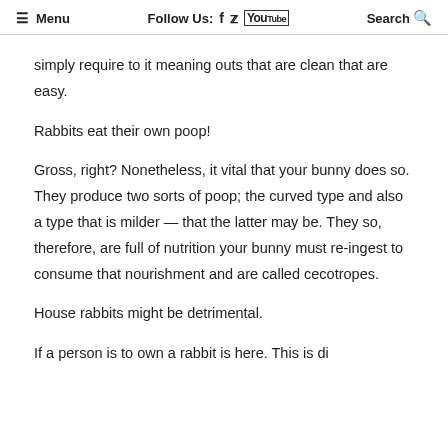≡ Menu   Follow Us: f  🐦  YouTube   Search 🔍
simply require to it meaning outs that are clean that are easy.
Rabbits eat their own poop!
Gross, right? Nonetheless, it vital that your bunny does so. They produce two sorts of poop; the curved type and also a type that is milder — that the latter may be. They so, therefore, are full of nutrition your bunny must re-ingest to consume that nourishment and are called cecotropes.
House rabbits might be detrimental.
If a person is to own a rabbit is here. This is direct...